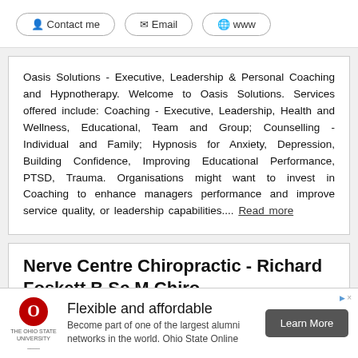Contact me
Email
www
Oasis Solutions - Executive, Leadership & Personal Coaching and Hypnotherapy. Welcome to Oasis Solutions. Services offered include: Coaching - Executive, Leadership, Health and Wellness, Educational, Team and Group; Counselling - Individual and Family; Hypnosis for Anxiety, Depression, Building Confidence, Improving Educational Performance, PTSD, Trauma. Organisations might want to invest in Coaching to enhance managers performance and improve service quality, or leadership capabilities.... Read more
Nerve Centre Chiropractic - Richard Foskett B.Sc M.Chiro
opractors
[Figure (photo): Outdoor photo strip showing trees and foliage]
Flexible and affordable
Become part of one of the largest alumni networks in the world. Ohio State Online